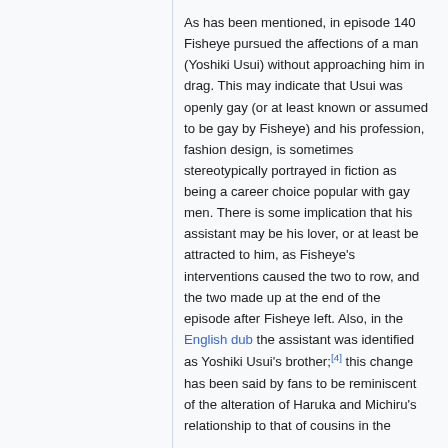As has been mentioned, in episode 140 Fisheye pursued the affections of a man (Yoshiki Usui) without approaching him in drag. This may indicate that Usui was openly gay (or at least known or assumed to be gay by Fisheye) and his profession, fashion design, is sometimes stereotypically portrayed in fiction as being a career choice popular with gay men. There is some implication that his assistant may be his lover, or at least be attracted to him, as Fisheye's interventions caused the two to row, and the two made up at the end of the episode after Fisheye left. Also, in the English dub the assistant was identified as Yoshiki Usui's brother;[4] this change has been said by fans to be reminiscent of the alteration of Haruka and Michiru's relationship to that of cousins in the